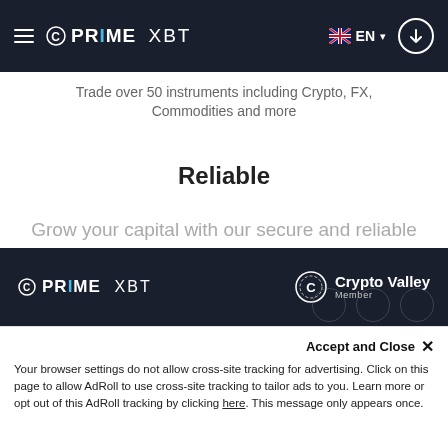≡ PRIME XBT | EN | Login
Trade over 50 instruments including Crypto, FX, Commodities and more
Reliable
Grow your capital with our secure and reliable trading platform
Get started
[Figure (logo): PrimeXBT logo in white on dark footer background]
[Figure (logo): Crypto Valley Member logo in white on dark footer background]
Accept and Close ✕
Your browser settings do not allow cross-site tracking for advertising. Click on this page to allow AdRoll to use cross-site tracking to tailor ads to you. Learn more or opt out of this AdRoll tracking by clicking here. This message only appears once.